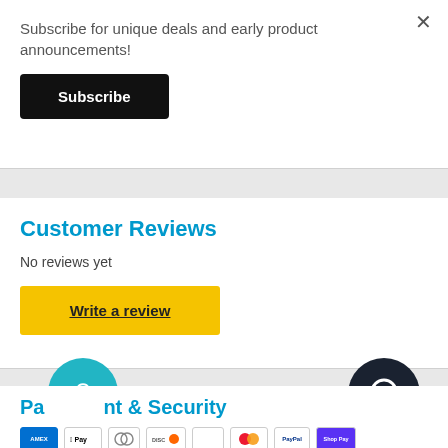Subscribe for unique deals and early product announcements!
Subscribe
Customer Reviews
No reviews yet
Write a review
Payment & Security
[Figure (infographic): Row of payment method icons: Amex, Apple Pay, Diners, Discover, and others]